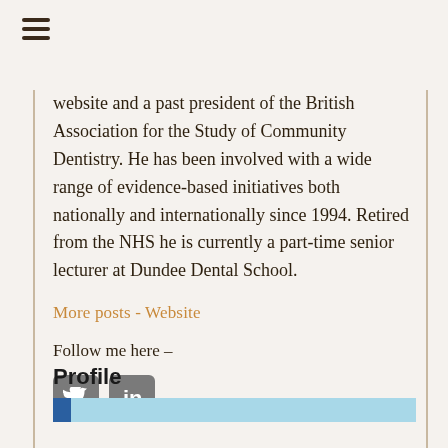[Figure (other): Hamburger menu icon (three horizontal lines)]
website and a past president of the British Association for the Study of Community Dentistry. He has been involved with a wide range of evidence-based initiatives both nationally and internationally since 1994. Retired from the NHS he is currently a part-time senior lecturer at Dundee Dental School.
More posts - Website
Follow me here –
[Figure (other): Social media icons: Twitter (bird icon) and LinkedIn (in icon), both in grey rounded square buttons]
Profile